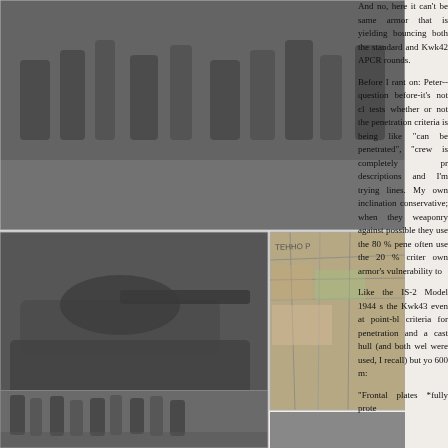[Figure (photo): Black and white collage of WWII-era military photographs showing soldiers, tanks (including what appears to be a T-34 or similar Soviet tank), a map, and military scenes.]
And no, here it can't be same armor that is yielding bouncing both the standard and Kwk42 APCR rounds.

Before I rant on: Peter-- question before-it's not cl tests whether or not the penetration criteria is being like "can be penetrated", "crew is completely pr descriptions and I'm trying lines. My own inclination conservative; when they weaponry against possible they use the 80 % pene often use the 20 % criter own armor's vulnerability to

Like the IS-2 Model 1944 s the Kwk43 even at point-bl criteria for penetration and a cast hull (and both wel were used, I recall) but yo 600 m:

"Frontal plates *fully prote